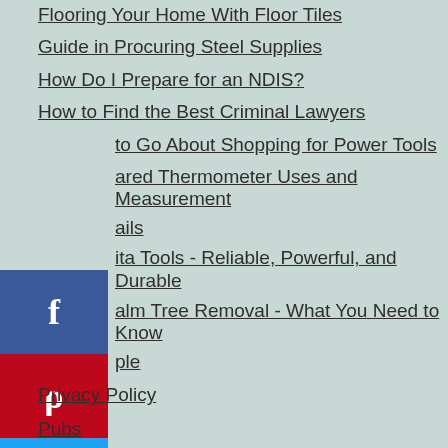Flooring Your Home With Floor Tiles
Guide in Procuring Steel Supplies
How Do I Prepare for an NDIS?
How to Find the Best Criminal Lawyers
How to Go About Shopping for Power Tools
Infrared Thermometer Uses and Measurement Details
Makita Tools - Reliable, Powerful, and Durable
Palm Tree Removal - What You Need to Know for People
Privacy Policy
Pubs
Reasons to Hire a Skip Bin
Research